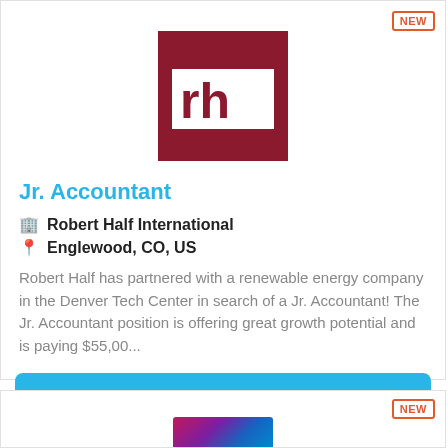[Figure (logo): Robert Half International logo — dark red square with white 'rh' letters inside a white rectangle]
Jr. Accountant
Robert Half International
Englewood, CO, US
Robert Half has partnered with a renewable energy company in the Denver Tech Center in search of a Jr. Accountant! The Jr. Accountant position is offering great growth potential and is paying $55,00...
More Details
[Figure (photo): Partial image of the next job listing card, cropped at bottom of page]